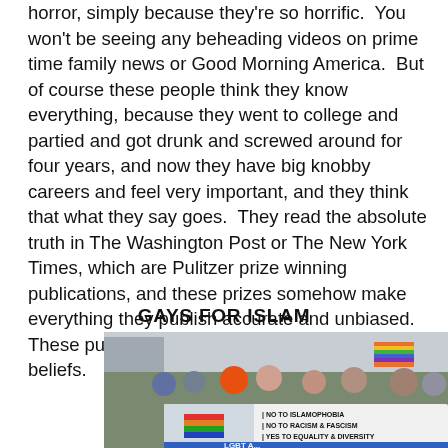horror, simply because they're so horrific. You won't be seeing any beheading videos on prime time family news or Good Morning America. But of course these people think they know everything, because they went to college and partied and got drunk and screwed around for four years, and now they have big knobby careers and feel very important, and they think that what they say goes. They read the absolute truth in The Washington Post or The New York Times, which are Pulitzer prize winning publications, and these prizes somehow make everything they publish accurate and unbiased. These publications reaffirm their biases and beliefs.
Gays for islam
[Figure (photo): A crowd of people at what appears to be a Pride march holding a banner that reads 'NO TO ISLAMOPHOBIA | NO TO RACISM & FASCISM | YES TO EQUALITY & DIVERSITY'. People are holding rainbow flags and wearing colorful clothing. At the bottom the text 'LGBT A...' is partially visible.]